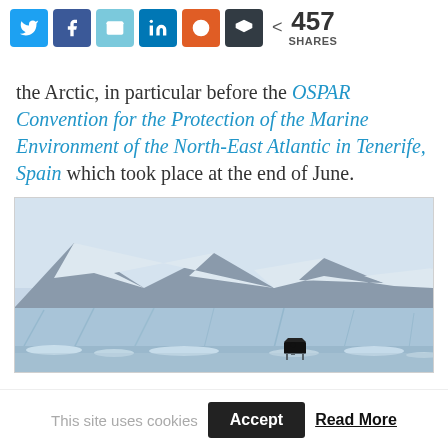[Figure (screenshot): Social media share buttons: Twitter (blue), Facebook (dark blue), Email (light blue), LinkedIn (blue), Reddit (orange-red), Buffer (dark grey), with share count showing < 457 SHARES]
the Arctic, in particular before the OSPAR Convention for the Protection of the Marine Environment of the North-East Atlantic in Tenerife, Spain which took place at the end of June.
[Figure (photo): A grand piano placed on floating ice in the Arctic, with a large glacier and snow-covered mountains in the background. Scene is cold, blue-grey toned.]
This site uses cookies  Accept  Read More